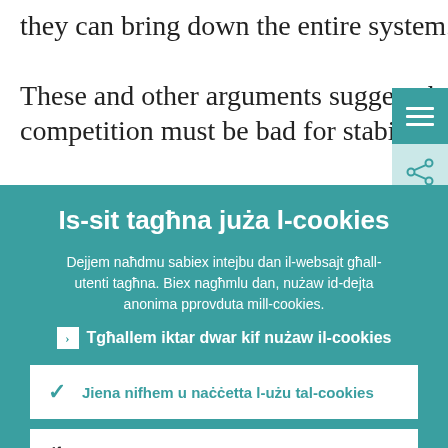they can bring down the entire system.
These and other arguments suggest that competition must be bad for stability. But is
[Figure (screenshot): Teal hamburger menu button (three horizontal white lines on teal background)]
[Figure (screenshot): Share icon button on light teal background]
Is-sit tagħna juża l-cookies
Dejjem naħdmu sabiex intejbu dan il-websajt għall-utenti tagħna. Biex nagħmlu dan, nużaw id-dejta anonima pprovduta mill-cookies.
Tgħallem iktar dwar kif nużaw il-cookies
Jiena nifhem u naċċetta l-użu tal-cookies
Jiena ma naċċettax l-użu tal-cookies